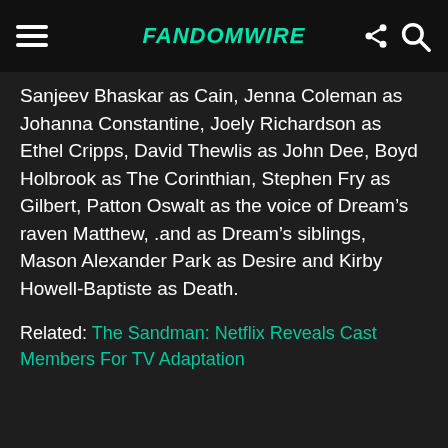FandomWire
Sanjeev Bhaskar as Cain, Jenna Coleman as Johanna Constantine, Joely Richardson as Ethel Cripps, David Thewlis as John Dee, Boyd Holbrook as The Corinthian, Stephen Fry as Gilbert, Patton Oswalt as the voice of Dream’s raven Matthew, .and as Dream’s siblings, Mason Alexander Park as Desire and Kirby Howell-Baptiste as Death.
Related: The Sandman: Netflix Reveals Cast Members For TV Adaptation